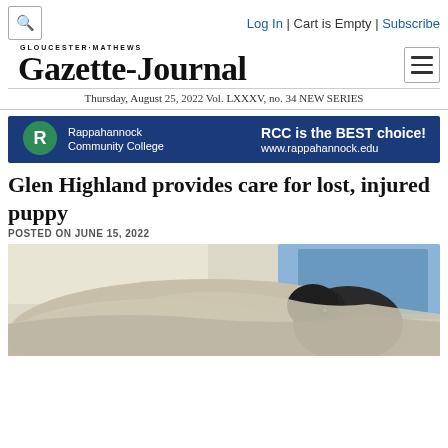Log In | Cart is Empty | Subscribe
[Figure (logo): Gloucester-Mathews Gazette-Journal newspaper masthead logo]
Thursday, August 25, 2022 Vol. LXXXV, no. 34 NEW SERIES
[Figure (infographic): Rappahannock Community College advertisement banner: RCC is the BEST choice! www.rappahannock.edu]
Glen Highland provides care for lost, injured puppy
POSTED ON JUNE 15, 2022
[Figure (photo): Photo of an injured puppy wrapped in blankets, lying on what appears to be a boat or vehicle interior with blue padding visible]